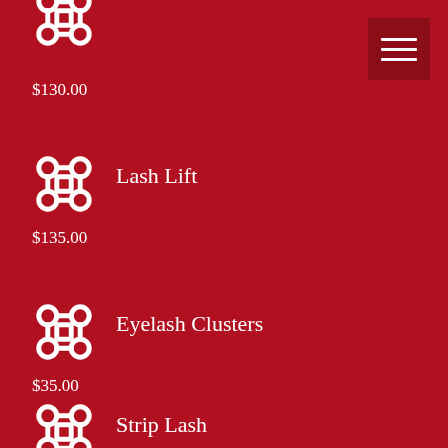[Figure (logo): Command key symbol icon (partial, cropped at top)]
$130.00
[Figure (logo): Command key symbol icon]
Lash Lift
$135.00
[Figure (logo): Command key symbol icon]
Eyelash Clusters
$35.00
[Figure (logo): Command key symbol icon (partial, cropped at bottom)]
Strip Lash